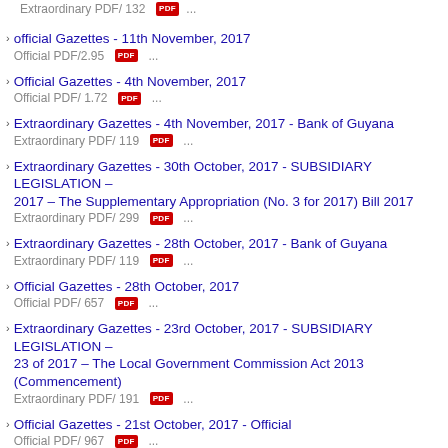Extraordinary PDF/ 132 ...
official Gazettes - 11th November, 2017
Official PDF/2.95 ...
Official Gazettes - 4th November, 2017
Official PDF/ 1.72 ...
Extraordinary Gazettes - 4th November, 2017 - Bank of Guyana
Extraordinary PDF/ 119 ...
Extraordinary Gazettes - 30th October, 2017 - SUBSIDIARY LEGISLATION – 2017 – The Supplementary Appropriation (No. 3 for 2017) Bill 2017
Extraordinary PDF/ 299 ...
Extraordinary Gazettes - 28th October, 2017 - Bank of Guyana
Extraordinary PDF/ 119 ...
Official Gazettes - 28th October, 2017
Official PDF/ 657 ...
Extraordinary Gazettes - 23rd October, 2017 - SUBSIDIARY LEGISLATION – 23 of 2017 – The Local Government Commission Act 2013 (Commencement)
Extraordinary PDF/ 191 ...
Official Gazettes - 21st October, 2017 - Official
Official PDF/ 967 ...